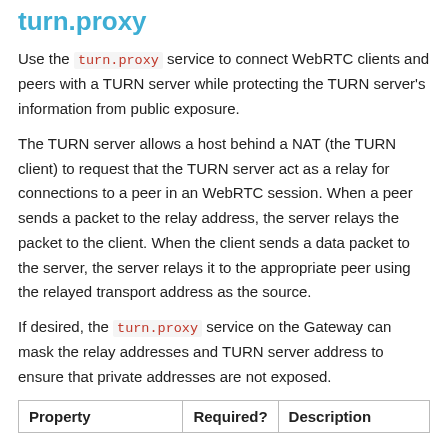turn.proxy
Use the turn.proxy service to connect WebRTC clients and peers with a TURN server while protecting the TURN server's information from public exposure.
The TURN server allows a host behind a NAT (the TURN client) to request that the TURN server act as a relay for connections to a peer in an WebRTC session. When a peer sends a packet to the relay address, the server relays the packet to the client. When the client sends a data packet to the server, the server relays it to the appropriate peer using the relayed transport address as the source.
If desired, the turn.proxy service on the Gateway can mask the relay addresses and TURN server address to ensure that private addresses are not exposed.
| Property | Required? | Description |
| --- | --- | --- |